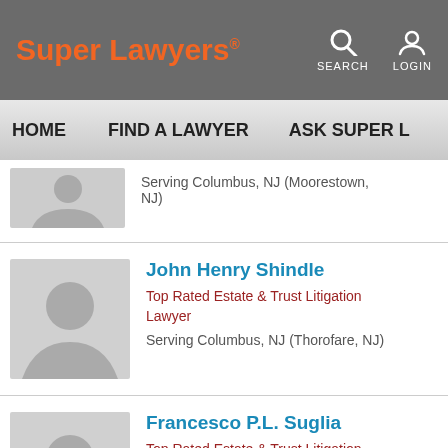Super Lawyers | SEARCH | LOGIN
HOME | FIND A LAWYER | ASK SUPER L
Serving Columbus, NJ (Moorestown, NJ)
John Henry Shindle
Top Rated Estate & Trust Litigation Lawyer
Serving Columbus, NJ (Thorofare, NJ)
Francesco P.L. Suglia
Top Rated Estate & Trust Litigation Lawyer
Serving Columbus, NJ (Sewell, NJ)